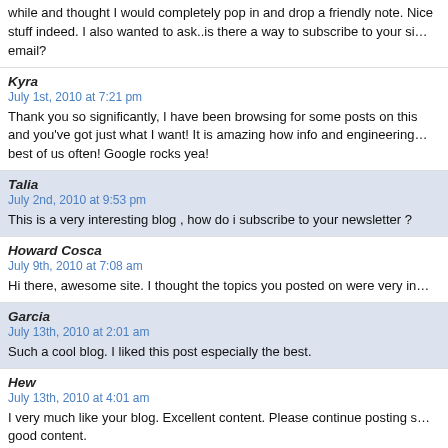while and thought I would completely pop in and drop a friendly note. Nice stuff indeed. I also wanted to ask..is there a way to subscribe to your site via email?
Kyra
July 1st, 2010 at 7:21 pm
Thank you so significantly, I have been browsing for some posts on this and you've got just what I want! It is amazing how info and engineering best of us often! Google rocks yea!
Talia
July 2nd, 2010 at 9:53 pm
This is a very interesting blog , how do i subscribe to your newsletter ?
Howard Cosca
July 9th, 2010 at 7:08 am
Hi there, awesome site. I thought the topics you posted on were very in
Garcia
July 13th, 2010 at 2:01 am
Such a cool blog. I liked this post especially the best.
Hew
July 13th, 2010 at 4:01 am
I very much like your blog. Excellent content. Please continue posting s good content.
Collins
July 13th, 2010 at 4:48 pm
All I can say is preserve it up. This blog is so essential inside a time wh